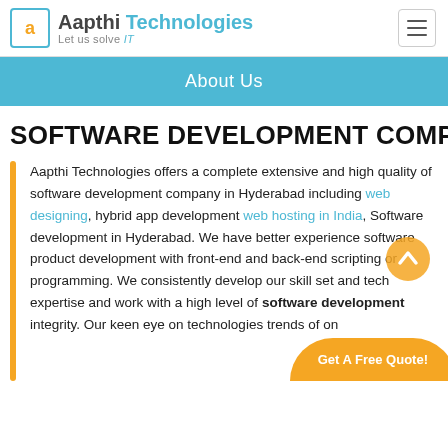Aapthi Technologies — Let us solve IT
About Us
SOFTWARE DEVELOPMENT COMPANY
Aapthi Technologies offers a complete extensive and high quality of software development company in Hyderabad including web designing, hybrid app development web hosting in India, Software development in Hyderabad. We have better experience software product development with front-end and back-end scripting or programming. We consistently develop our skill set and tech expertise and work with a high level of software development integrity. Our keen eye on technologies trends of on...